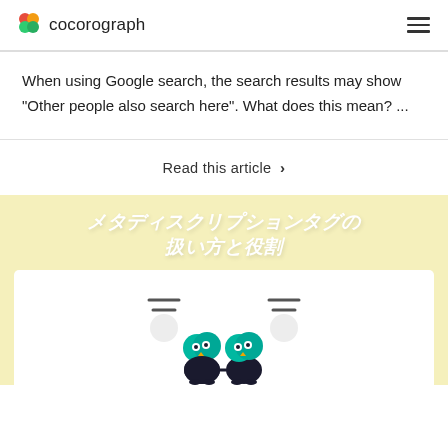cocorograph
When using Google search, the search results may show "Other people also search here". What does this mean? ...
Read this article ›
[Figure (illustration): Card with yellow background showing Japanese text メタディスクリプションタグの扱い方と役割 (How to handle and role of meta description tags) with two cartoon owl-like characters inside a white rounded rectangle]